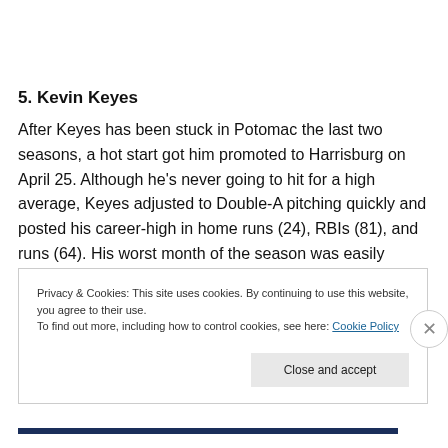5. Kevin Keyes
After Keyes has been stuck in Potomac the last two seasons, a hot start got him promoted to Harrisburg on April 25. Although he’s never going to hit for a high average, Keyes adjusted to Double-A pitching quickly and posted his career-high in home runs (24), RBIs (81), and runs (64). His worst month of the season was easily
Privacy & Cookies: This site uses cookies. By continuing to use this website, you agree to their use.
To find out more, including how to control cookies, see here: Cookie Policy
Close and accept